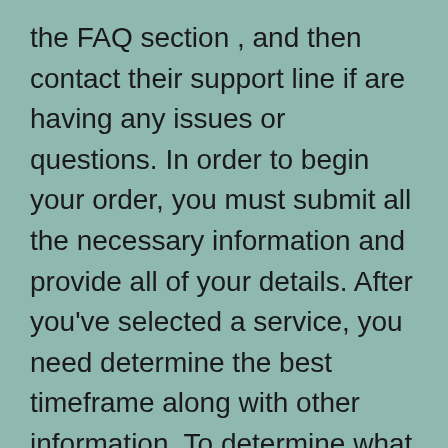the FAQ section , and then contact their support line if are having any issues or questions. In order to begin your order, you must submit all the necessary information and provide all of your details. After you've selected a service, you need determine the best timeframe along with other information. To determine what is the ideal deadline, you should consider your personal deadlines and demands.
Since the volume of writing assignments increase and students become overwhelmed with tasks, Essay writing can be a wonderful